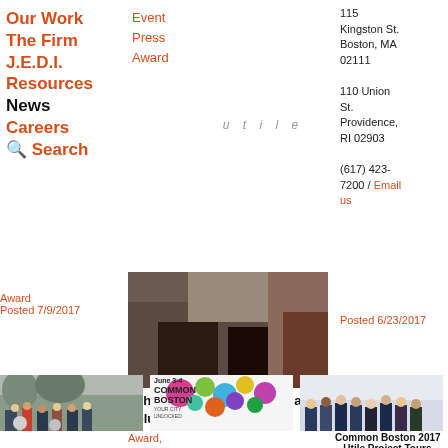Our Work
The Firm
J.E.D.I.
Resources
News
Careers
Search
Event
Press
Award
utile
115 Kingston St. Boston, MA 02111
110 Union St. Providence, RI 02903
(617) 423-7200 / Email us
Award
Posted 7/9/2017
[Figure (photo): Close-up photo of boots/legs near a brick wall]
John McCartin recognized as Volunteer of the Year
Award,
Press
Posted 7/5/2017
Posted 6/23/2017
[Figure (photo): Group of people with bicycles near a waterway]
[Figure (photo): Common Boston 2017 graphic with colorful circles and text 'COMMON BOSTON YOUR CITY UNLOCKED']
Common Boston 2017 – Utile Project Tours on Saturday June 3rd
Event
[Figure (photo): Group photo of people in an office setting]